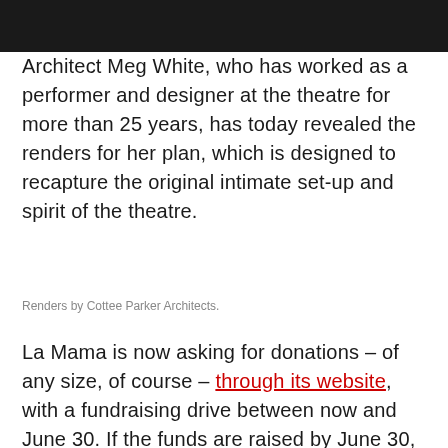Architect Meg White, who has worked as a performer and designer at the theatre for more than 25 years, has today revealed the renders for her plan, which is designed to recapture the original intimate set-up and spirit of the theatre.
Renders by Cottee Parker Architects.
La Mama is now asking for donations – of any size, of course – through its website, with a fundraising drive between now and June 30. If the funds are raised by June 30, the theatre should be on track to reopen in January 2021.